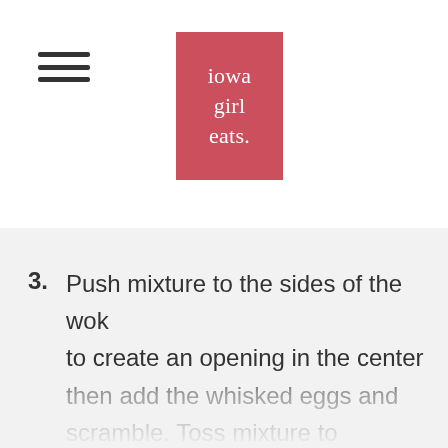[Figure (logo): Iowa Girl Eats logo — red/salmon square with white serif text reading 'iowa girl eats.']
3. Push mixture to the sides of the wok to create an opening in the center then add the whisked eggs and scramble. Toss mixture to combine then drizzle in 2 Tablespoon gluten